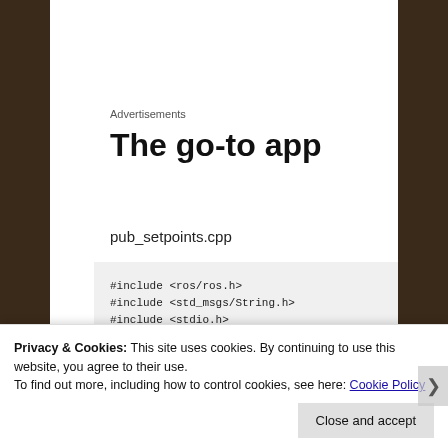Advertisements
The go-to app
pub_setpoints.cpp
#include <ros/ros.h>
#include <std_msgs/String.h>
#include <stdio.h>
#include "geometry_msgs/PoseStamped.h"
Privacy & Cookies: This site uses cookies. By continuing to use this website, you agree to their use.
To find out more, including how to control cookies, see here: Cookie Policy